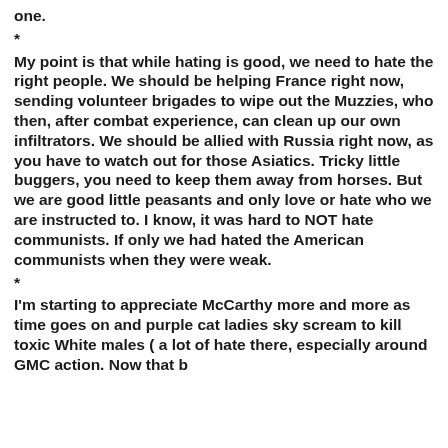one.
*
My point is that while hating is good, we need to hate the right people. We should be helping France right now, sending volunteer brigades to wipe out the Muzzies, who then, after combat experience, can clean up our own infiltrators. We should be allied with Russia right now, as you have to watch out for those Asiatics. Tricky little buggers, you need to keep them away from horses. But we are good little peasants and only love or hate who we are instructed to. I know, it was hard to NOT hate communists. If only we had hated the American communists when they were weak.
*
I'm starting to appreciate McCarthy more and more as time goes on and purple cat ladies sky scream to kill toxic White males ( a lot of hate there, especially around GMC action. Now that b